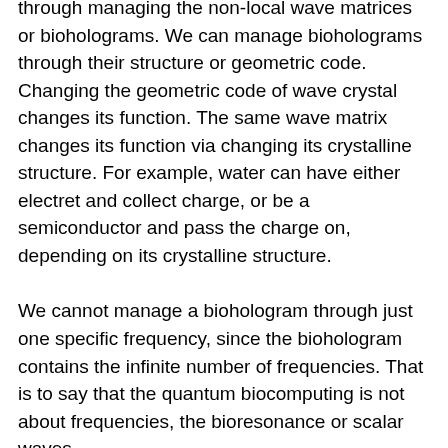through managing the non-local wave matrices or bioholograms. We can manage bioholograms through their structure or geometric code. Changing the geometric code of wave crystal changes its function. The same wave matrix changes its function via changing its crystalline structure. For example, water can have either electret and collect charge, or be a semiconductor and pass the charge on, depending on its crystalline structure.
We cannot manage a biohologram through just one specific frequency, since the biohologram contains the infinite number of frequencies. That is to say that the quantum biocomputing is not about frequencies, the bioresonance or scalar waves.
The attempt of expanding our knowledge of the universe via search for smaller and smaller subatomic particles in